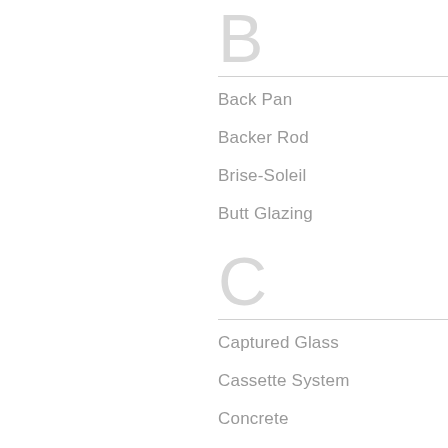B
Back Pan
Backer Rod
Brise-Soleil
Butt Glazing
C
Captured Glass
Cassette System
Concrete
Conservation
Curtainwall